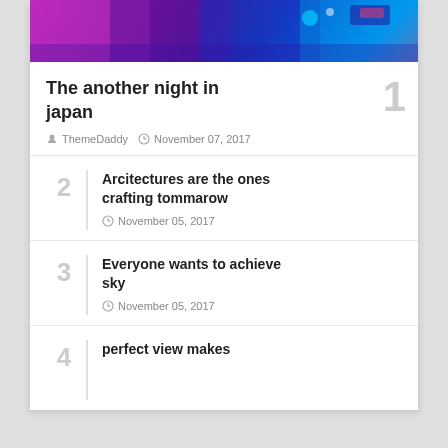[Figure (photo): Night scene in japan with neon pink, purple and blue lights]
The another night in japan
ThemeDaddy   November 07, 2017
2  Arcitectures are the ones crafting tommarow  November 05, 2017
3  Everyone wants to achieve sky  November 05, 2017
4  perfect view makes